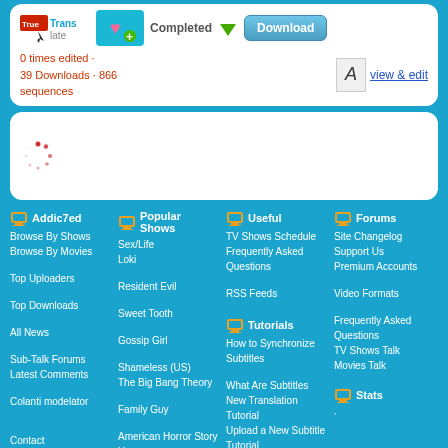[Figure (screenshot): Top card with TrueTranslate logo, cyan status box with heart icon, Completed text, green download arrow, and Download button]
0 times edited · 39 Downloads · 866 sequences
view & edit
[Figure (screenshot): White card with loading spinner (red dashed circle)]
Addic7ed | Popular Shows | Useful | Forums footer navigation with links: Browse By Shows, Browse By Movies, Top Uploaders, Top Downloads, All News, Sub-Talk Forums, Latest Comments, Colanti modelator, Contact | Sex/Life, Loki, Resident Evil, Sweet Tooth, Gossip Girl, Shameless (US), The Big Bang Theory, Family Guy, American Horror Story, House | TV Shows Schedule, Frequently Asked Questions, RSS Feeds | Tutorials: How to Synchronize Subtitles, What Are Subtitles, New Translation Tutorial, Upload a New Subtitle Tutorial, How to have an Avatar, Trolere | Forums: Site Changelog, Support Us, Premium Accounts, Video Formats, Frequently Asked Questions, TV Shows Talk, Movies Talk | Stats
build time: 0.31304001808167